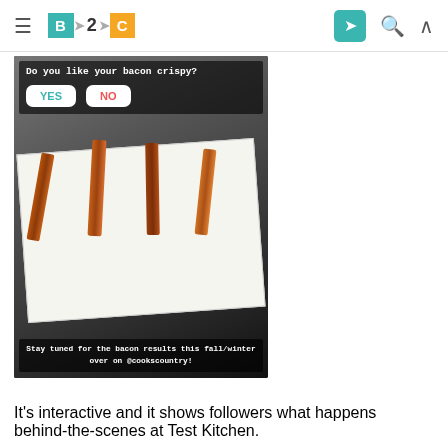B2C navigation bar with hamburger menu, B2C logo, send icon, search icon, and up arrow icon
[Figure (screenshot): Instagram story screenshot showing bacon strips on a white surface with a YES/NO poll question 'Do you like your bacon crispy?' and bottom text overlay 'Stay tuned for the bacon results this fall/winter over on @cookscountry!']
It's interactive and it shows followers what happens behind-the-scenes at Test Kitchen.